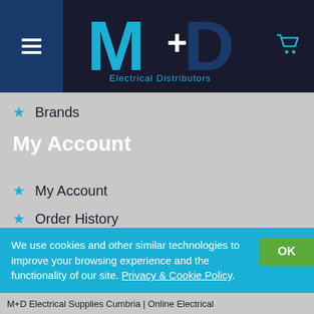[Figure (logo): M+D Electrical Distributors logo with cyan M and dark blue D letters on dark background, with hamburger menu icon on left blue panel and cart icon on right]
★ Brands
My Account
★ My Account
★ Order History
★ customer service
We use cookies and other similar technologies to improve your browsing experience and the functionality of our site. Privacy & Cookie Policy.
M+D Electrical Supplies Cumbria | Online Electrical